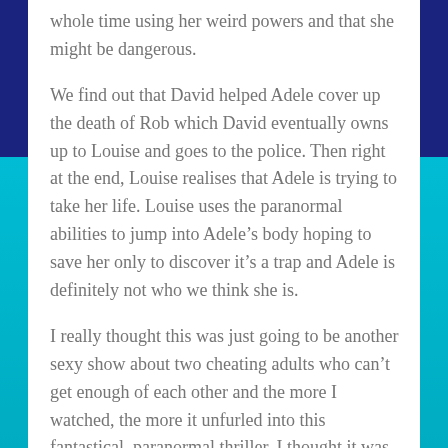whole time using her weird powers and that she might be dangerous.
We find out that David helped Adele cover up the death of Rob which David eventually owns up to Louise and goes to the police. Then right at the end, Louise realises that Adele is trying to take her life. Louise uses the paranormal abilities to jump into Adele’s body hoping to save her only to discover it’s a trap and Adele is definitely not who we think she is.
I really thought this was just going to be another sexy show about two cheating adults who can’t get enough of each other and the more I watched, the more it unfurled into this fantastical, paranormal thriller. I thought it was